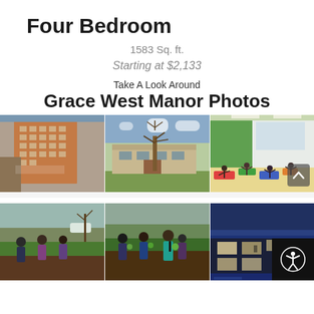Four Bedroom
1583 Sq. ft.
Starting at $2,133
Take A Look Around
Grace West Manor Photos
[Figure (photo): Three photos side by side: exterior of Grace West Manor tall brick building, exterior of a lower community building with trees, and an indoor yoga/exercise class on colorful mats]
[Figure (photo): Three photos side by side: people gardening/planting in raised beds, more people gardening with woman in teal, and exterior of a building at dusk with blue lighting]